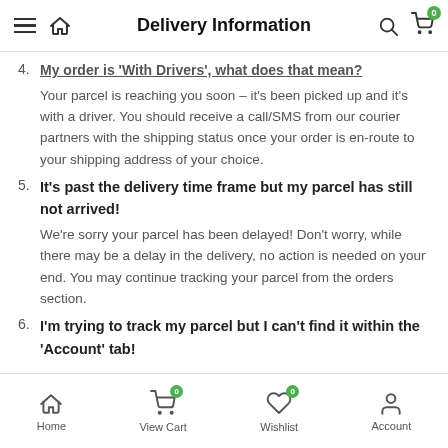Delivery Information
4. My order is 'With Drivers', what does that mean?
Your parcel is reaching you soon – it's been picked up and it's with a driver. You should receive a call/SMS from our courier partners with the shipping status once your order is en-route to your shipping address of your choice.
5. It's past the delivery time frame but my parcel has still not arrived!
We're sorry your parcel has been delayed! Don't worry, while there may be a delay in the delivery, no action is needed on your end. You may continue tracking your parcel from the orders section.
6. I'm trying to track my parcel but I can't find it within the 'Account' tab!
Home   View Cart   Wishlist   Account